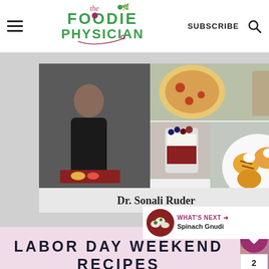The Foodie Physician | SUBSCRIBE
[Figure (photo): Open cookbook titled 'Dr. Sonali Ruder' showing food photos including pizza, parfait, and grilled peaches, with a woman in black standing behind a cutting board]
LABOR DAY WEEKEND RECIPES
[Figure (infographic): What's next section showing Spinach Gnudi with a circular food photo]
[Figure (photo): Bottom strip showing two partial food photos]